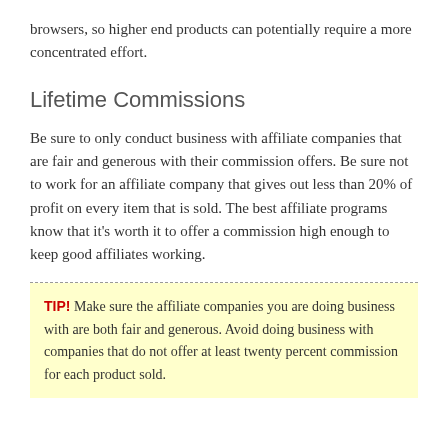browsers, so higher end products can potentially require a more concentrated effort.
Lifetime Commissions
Be sure to only conduct business with affiliate companies that are fair and generous with their commission offers. Be sure not to work for an affiliate company that gives out less than 20% of profit on every item that is sold. The best affiliate programs know that it's worth it to offer a commission high enough to keep good affiliates working.
TIP! Make sure the affiliate companies you are doing business with are both fair and generous. Avoid doing business with companies that do not offer at least twenty percent commission for each product sold.